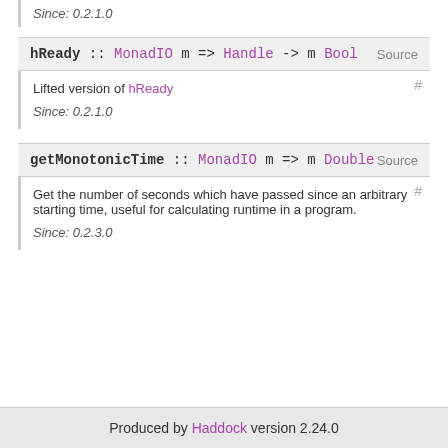Since: 0.2.1.0
hReady :: MonadIO m => Handle -> m Bool   Source
#
Lifted version of hReady
Since: 0.2.1.0
getMonotonicTime :: MonadIO m => m Double   Source
#
Get the number of seconds which have passed since an arbitrary starting time, useful for calculating runtime in a program.
Since: 0.2.3.0
Produced by Haddock version 2.24.0